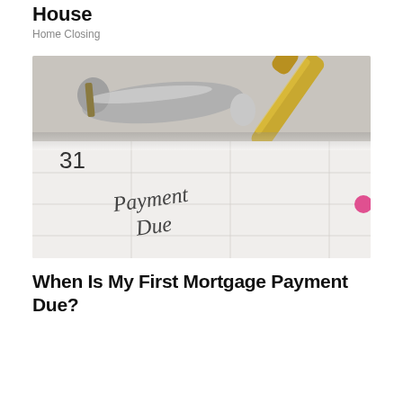House
Home Closing
[Figure (photo): A calendar open to day 31 with 'Payment Due' written in cursive handwriting. Two pens — one silver and one gold-tipped — rest on top of the calendar. A small pink circle/dot appears on the right edge of the calendar page.]
When Is My First Mortgage Payment Due?